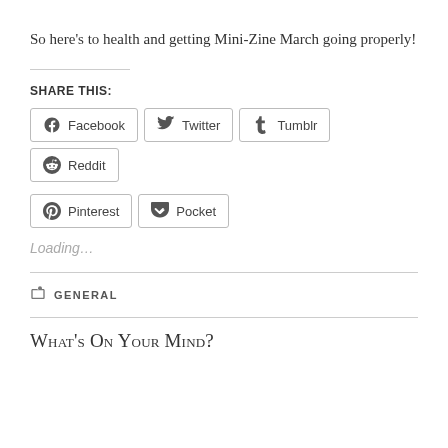So here's to health and getting Mini-Zine March going properly!
Share This:
[Figure (other): Share buttons row 1: Facebook, Twitter, Tumblr, Reddit; row 2: Pinterest, Pocket]
Loading...
GENERAL
What's On Your Mind?